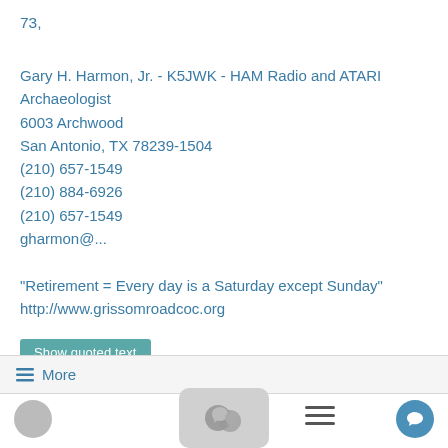73,
Gary H. Harmon, Jr. - K5JWK - HAM Radio and ATARI Archaeologist
6003 Archwood
San Antonio, TX 78239-1504
(210) 657-1549
(210) 884-6926
(210) 657-1549
gharmon@...
"Retirement = Every day is a Saturday except Sunday"
http://www.grissomroadcoc.org
Show quoted text
☰ More